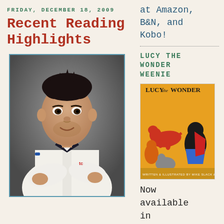FRIDAY, DECEMBER 18, 2009
Recent Reading Highlights
[Figure (photo): A man in a white chef's jacket with arms crossed, posing against a dark background, professional portrait style.]
at Amazon, B&N, and Kobo!
LUCY THE WONDER WEENIE
[Figure (illustration): Book cover for 'Lucy the Wonder Weenie' with colorful illustrated characters on a yellow-orange background.]
Now available in paperback